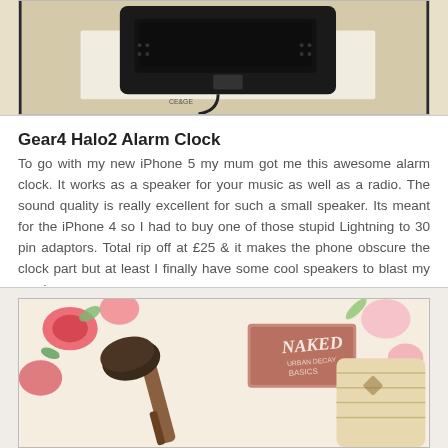[Figure (photo): Gear4 Halo2 alarm clock speaker dock, black device on white surface, viewed from above]
Gear4 Halo2 Alarm Clock
To go with my new iPhone 5 my mum got me this awesome alarm clock. It works as a speaker for your music as well as a radio. The sound quality is really excellent for such a small speaker. Its meant for the iPhone 4 so I had to buy one of those stupid Lightning to 30 pin adaptors. Total rip off at £25 & it makes the phone obscure the clock part but at least I finally have some cool speakers to blast my music on.
[Figure (photo): Flat lay of Urban Decay Naked Basics palette, makeup brush, gloves, and floral fabric]